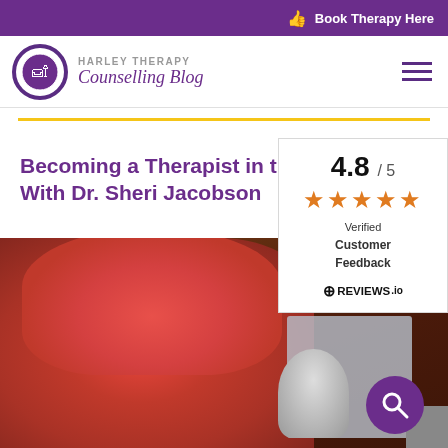Book Therapy Here
[Figure (logo): Harley Therapy circular logo with armchair illustration]
HARLEY THERAPY Counselling Blog
Becoming a Therapist in the Age of the Int[ernet] With Dr. Sheri Jacobson
[Figure (infographic): 4.8/5 star rating widget — Verified Customer Feedback — REVIEWS.io]
[Figure (photo): Photo of person with bright pink/red hair, with another person visible in background near a screen or device]